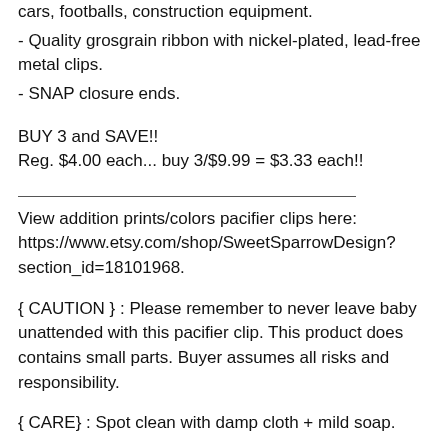cars, footballs, construction equipment.
- Quality grosgrain ribbon with nickel-plated, lead-free metal clips.
- SNAP closure ends.
BUY 3 and SAVE!!
Reg. $4.00 each... buy 3/$9.99 = $3.33 each!!
View addition prints/colors pacifier clips here: https://www.etsy.com/shop/SweetSparrowDesign?section_id=18101968.
{ CAUTION } : Please remember to never leave baby unattended with this pacifier clip. This product does contains small parts. Buyer assumes all risks and responsibility.
{ CARE} : Spot clean with damp cloth + mild soap.